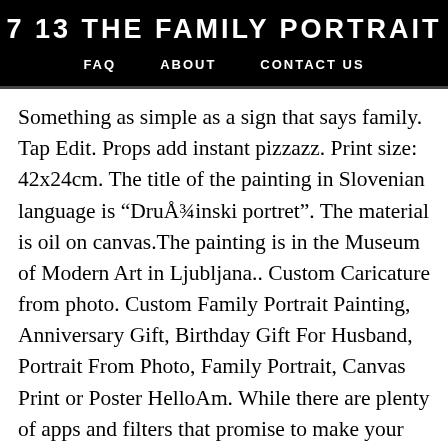7 13 THE FAMILY PORTRAIT
FAQ   ABOUT   CONTACT US
Something as simple as a sign that says family. Tap Edit. Props add instant pizzazz. Print size: 42x24cm. The title of the painting in Slovenian language is "DruÅ¾inski portret". The material is oil on canvas.The painting is in the Museum of Modern Art in Ljubljana.. Custom Caricature from photo. Custom Family Portrait Painting, Anniversary Gift, Birthday Gift For Husband, Portrait From Photo, Family Portrait, Canvas Print or Poster HelloAm. While there are plenty of apps and filters that promise to make your photo into a